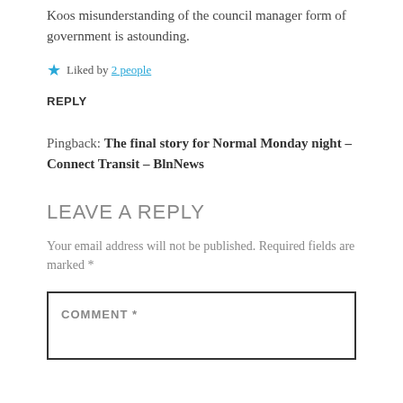Koos misunderstanding of the council manager form of government is astounding.
★ Liked by 2 people
REPLY
Pingback: The final story for Normal Monday night – Connect Transit – BlnNews
LEAVE A REPLY
Your email address will not be published. Required fields are marked *
COMMENT *